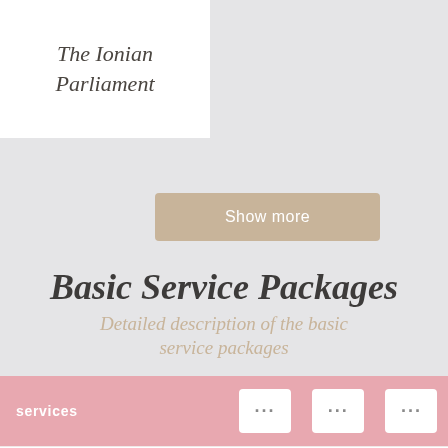The Ionian Parliament
[Figure (other): Show more button with tan/beige background]
Basic Service Packages
Detailed description of the basic service packages
| services | ... | ... | ... |
| --- | --- | --- | --- |
| Organization and coordination of the | ✓ | ✓ | ✓ |